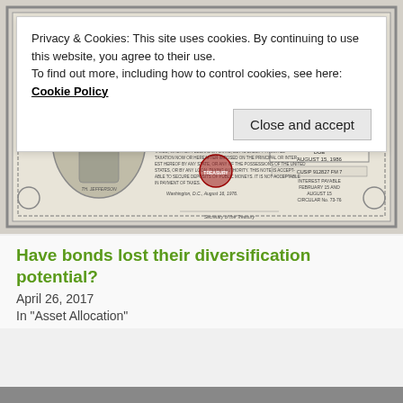[Figure (photo): An antique US Treasury Note for Five Thousand Dollars, 8% interest rate, Series B-1986, dated August 16, 1976, due August 15, 1986. Features a portrait of a Founding Father on the left, with ornate border, official seal, and text about terms and conditions. Number 17710 visible in top right.]
Privacy & Cookies: This site uses cookies. By continuing to use this website, you agree to their use.
To find out more, including how to control cookies, see here: Cookie Policy
Close and accept
Have bonds lost their diversification potential?
April 26, 2017
In "Asset Allocation"